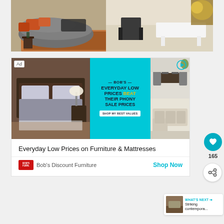[Figure (photo): Living room interior photo showing a curved gray sofa with orange pillows, a reclining chair, and a white coffee table on a patterned rug]
[Figure (screenshot): Advertisement for Bob's Discount Furniture showing bedroom and living room furniture with text 'Bob's Everyday Low Prices Beat Their Phony Sale Prices' and 'Shop My Best Values' button]
Everyday Low Prices on Furniture & Mattresses
Bob's Discount Furniture
Shop Now
165
WHAT'S NEXT → Striking contempora...